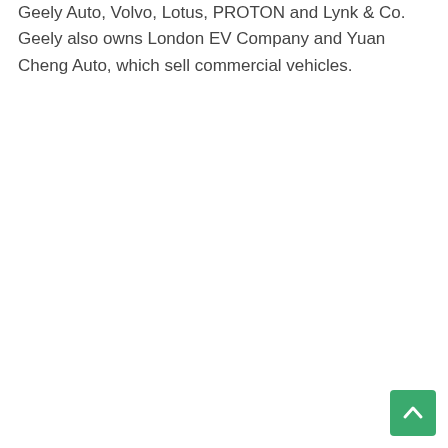Geely Auto, Volvo, Lotus, PROTON and Lynk & Co. Geely also owns London EV Company and Yuan Cheng Auto, which sell commercial vehicles.
[Figure (other): Green back-to-top button with upward chevron arrow icon]